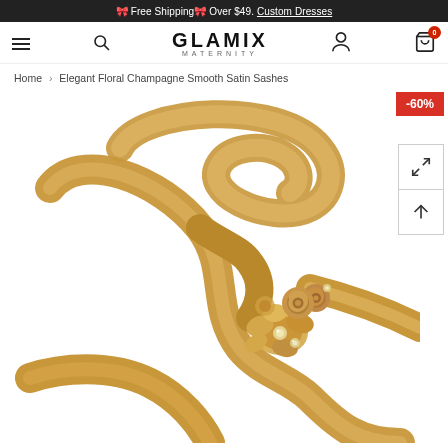🎀 Free Shipping🎀 Over $49. Custom Dresses
GLAMIX MATERNITY — navigation bar with hamburger, search, logo, account, cart (0)
Home > Elegant Floral Champagne Smooth Satin Sashes
[Figure (photo): Product photo of an elegant champagne/gold satin sash with floral embellishment including rose-shaped fabric flowers with rhinestone centers, ribbon arranged in a wavy S-curve on white background. A -60% discount badge appears in the top right corner.]